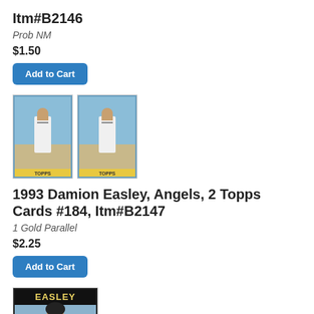Itm#B2146
Prob NM
$1.50
Add to Cart
[Figure (photo): Two baseball cards showing a player in white uniform, 1993 Topps style]
1993 Damion Easley, Angels, 2 Topps Cards #184, Itm#B2147
1 Gold Parallel
$2.25
Add to Cart
[Figure (photo): Single baseball card showing Damion Easley with 'EASLEY' text at top, Topps brand card]
1993 Damion Easley, Angels, 1 Triple Play #193...